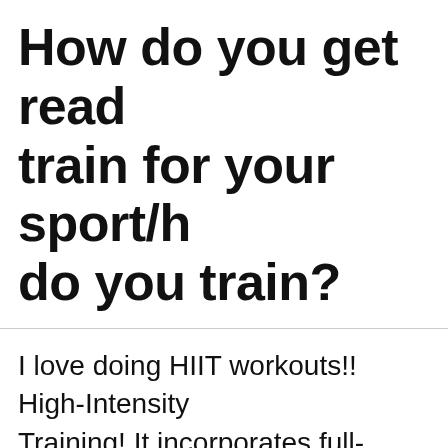How do you get ready to train for your sport/hobby? How do you train?
I love doing HIIT workouts!! High-Intensity Training! It incorporates full-body, compound exercises, typically bodyweight-only, which done in short, intense bursts, at nearly one percent of your max effort, followed by sometimes active rest.
For example, 20 seconds at max effort doing body exercise like burpees, followed by a workouts can use various work to rest st...